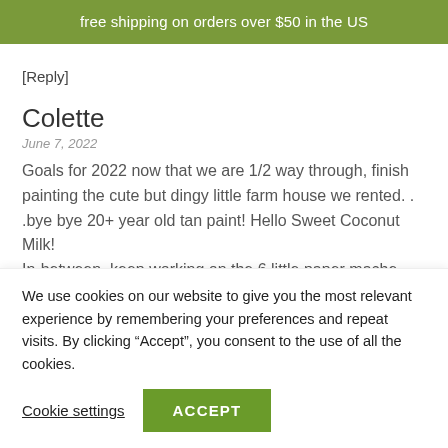free shipping on orders over $50 in the US
[Reply]
Colette
June 7, 2022
Goals for 2022 now that we are 1/2 way through, finish painting the cute but dingy little farm house we rented. . .bye bye 20+ year old tan paint! Hello Sweet Coconut Milk!
In-between, keep working on the 6 little paper mache boats, and for the rest of the year chip
We use cookies on our website to give you the most relevant experience by remembering your preferences and repeat visits. By clicking “Accept”, you consent to the use of all the cookies.
Cookie settings
ACCEPT